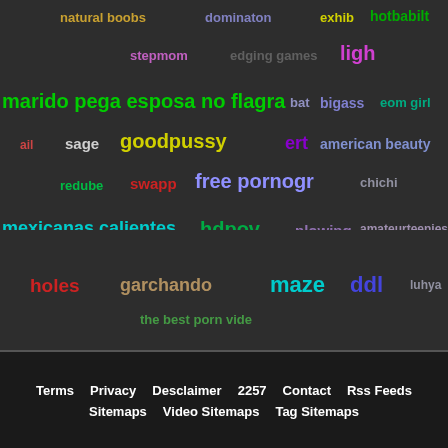[Figure (infographic): Tag cloud with colorful keyword tags on dark background including terms like natural boobs, dominaton, exhib, hotbabilt, stepmom, edging games, ligh, marido pega esposa no flagra, bat, bigass, eom girl, sage, goodpussy, ert, american beauty, redube, swapp, free pornogr, chichi, mexicanas calientes, hdpov, plowing, amateurteenies, switch, my free black, drow, asiticas, dirty sluts, vna live, hot ass fuck, breaking, hot cunt, porn anal, fakings, sissy, forwoman, ex girlfriend porn, holes, garchando, maze, ddl, luhya, the best porn vide]
Terms  Privacy  Desclaimer  2257  Contact  Rss Feeds  Sitemaps  Video Sitemaps  Tag Sitemaps